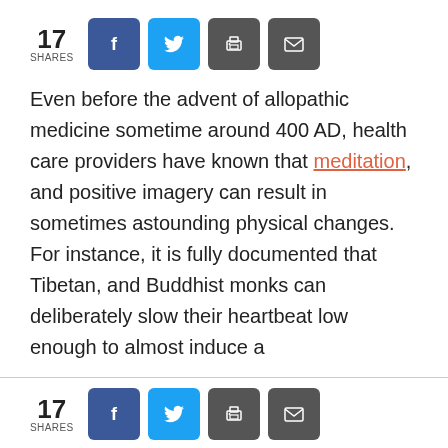[Figure (infographic): Social share bar showing 17 shares with Facebook, Twitter, print, and email buttons]
Even before the advent of allopathic medicine sometime around 400 AD, health care providers have known that meditation, and positive imagery can result in sometimes astounding physical changes. For instance, it is fully documented that Tibetan, and Buddhist monks can deliberately slow their heartbeat low enough to almost induce a
[Figure (infographic): Bottom social share bar showing 17 shares with Facebook, Twitter, print, and email buttons]